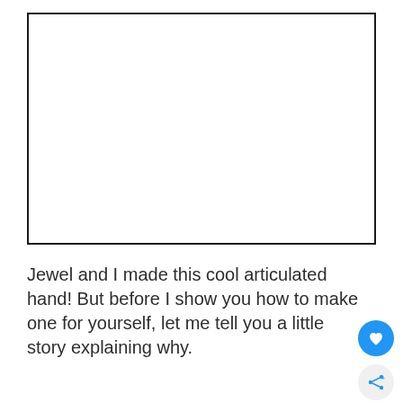[Figure (other): A blank white rectangular box with a thick black border, representing a placeholder image area for an articulated hand project.]
Jewel and I made this cool articulated hand! But before I show you how to make one for yourself, let me tell you a little story explaining why.